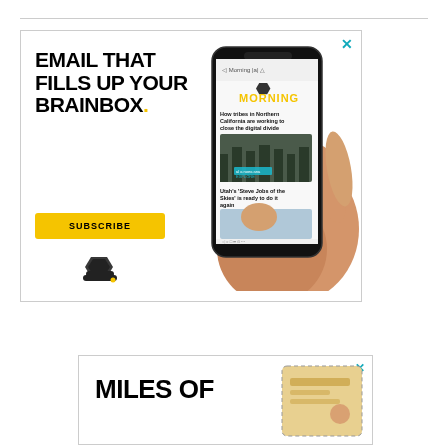[Figure (infographic): Advertisement banner for Morning newsletter: 'EMAIL THAT FILLS UP YOUR BRAINBOX.' with a Subscribe button, beehive logo, and a hand holding a smartphone displaying the Morning newsletter app. Blue X close button in top-right corner.]
[Figure (infographic): Partial advertisement banner showing 'MILES OF' text in large bold black font with a partial image of what appears to be a passport or travel document. Blue X close button in top-right corner.]